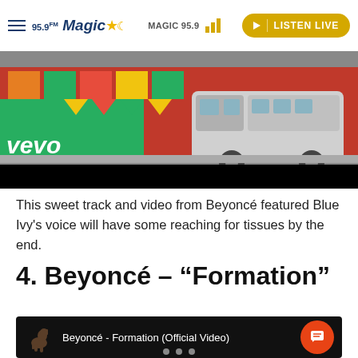95.9 Magic | MAGIC 95.9 | LISTEN LIVE
[Figure (screenshot): Music video thumbnail showing a VW bus van in front of a colorful mural wall, with 'vevo' logo watermark at bottom left, and a black bar at the bottom]
This sweet track and video from Beyoncé featured Blue Ivy's voice will have some reaching for tissues by the end.
4. Beyoncé – “Formation”
[Figure (screenshot): YouTube video bar showing Beyoncé - Formation (Official Video) with horse icon thumbnail on black background and orange chat button]